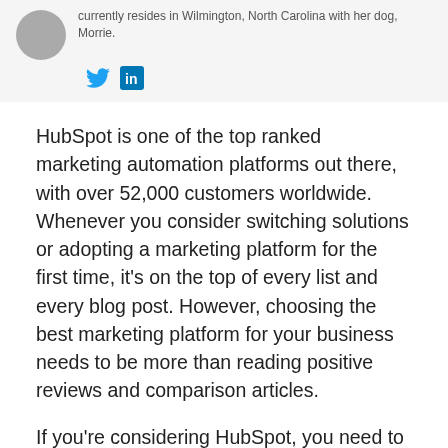currently resides in Wilmington, North Carolina with her dog, Morrie.
[Figure (other): Social media icons: Twitter bird icon and LinkedIn 'in' icon in blue]
HubSpot is one of the top ranked marketing automation platforms out there, with over 52,000 customers worldwide. Whenever you consider switching solutions or adopting a marketing platform for the first time, it's on the top of every list and every blog post. However, choosing the best marketing platform for your business needs to be more than reading positive reviews and comparison articles.
If you're considering HubSpot, you need to trust that it's going to have the features and functionality to support your inbound marketing strategy. And the best way to get that assurance is from customers